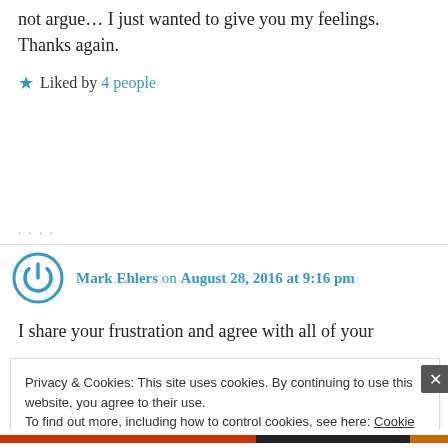not argue… I just wanted to give you my feelings. Thanks again.
Liked by 4 people
Mark Ehlers on August 28, 2016 at 9:16 pm
I share your frustration and agree with all of your
Privacy & Cookies: This site uses cookies. By continuing to use this website, you agree to their use. To find out more, including how to control cookies, see here: Cookie Policy
Close and accept